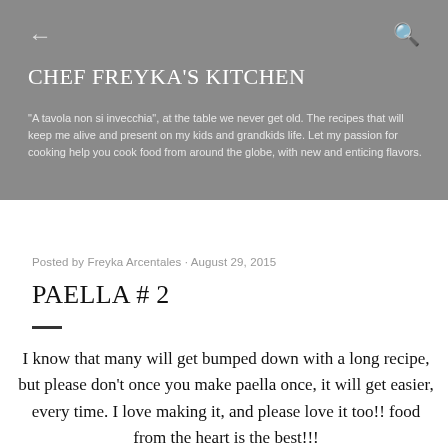CHEF FREYKA'S KITCHEN
"A tavola non si invecchia", at the table we never get old. The recipes that will keep me alive and present on my kids and grandkids life. Let my passion for cooking help you cook food from around the globe, with new and enticing flavors.
Posted by Freyka Arcentales · August 29, 2015
PAELLA # 2
I know that many will get bumped down with a long recipe, but please don't once you make paella once, it will get easier, every time. I love making it, and please love it too!! food from the heart is the best!!!